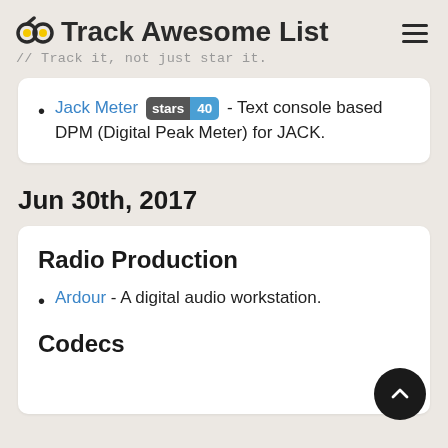Track Awesome List // Track it, not just star it.
Jack Meter stars 40 - Text console based DPM (Digital Peak Meter) for JACK.
Jun 30th, 2017
Radio Production
Ardour - A digital audio workstation.
Codecs